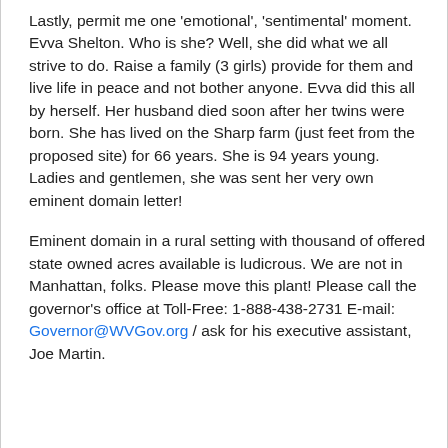Lastly, permit me one 'emotional', 'sentimental' moment. Evva Shelton. Who is she? Well, she did what we all strive to do. Raise a family (3 girls) provide for them and live life in peace and not bother anyone. Evva did this all by herself. Her husband died soon after her twins were born. She has lived on the Sharp farm (just feet from the proposed site) for 66 years. She is 94 years young. Ladies and gentlemen, she was sent her very own eminent domain letter!
Eminent domain in a rural setting with thousand of offered state owned acres available is ludicrous. We are not in Manhattan, folks. Please move this plant! Please call the governor's office at Toll-Free: 1-888-438-2731 E-mail: Governor@WVGov.org / ask for his executive assistant, Joe Martin.